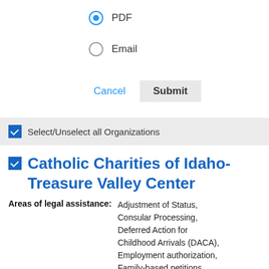PDF (selected radio button)
Email (unselected radio button)
Cancel   Submit
Select/Unselect all Organizations
Catholic Charities of Idaho- Treasure Valley Center
Areas of legal assistance: Adjustment of Status, Consular Processing, Deferred Action for Childhood Arrivals (DACA), Employment authorization, Family-based petitions, Naturalization/Citizenship, Special Immigrant Juvenile